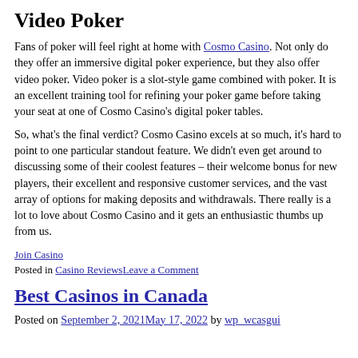Video Poker
Fans of poker will feel right at home with Cosmo Casino. Not only do they offer an immersive digital poker experience, but they also offer video poker. Video poker is a slot-style game combined with poker. It is an excellent training tool for refining your poker game before taking your seat at one of Cosmo Casino's digital poker tables.
So, what's the final verdict? Cosmo Casino excels at so much, it's hard to point to one particular standout feature. We didn't even get around to discussing some of their coolest features – their welcome bonus for new players, their excellent and responsive customer services, and the vast array of options for making deposits and withdrawals. There really is a lot to love about Cosmo Casino and it gets an enthusiastic thumbs up from us.
Join Casino
Posted in Casino ReviewsLeave a Comment
Best Casinos in Canada
Posted on September 2, 2021May 17, 2022 by wp_wcasgui